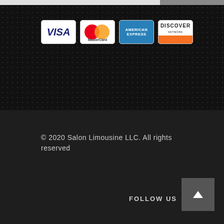[Figure (screenshot): Four payment method icons: Visa, MasterCard, American Express, and Discover Network credit card logos displayed on a dark dotted background]
© 2020 Salon Limousine LLC. All rights reserved
FOLLOW US